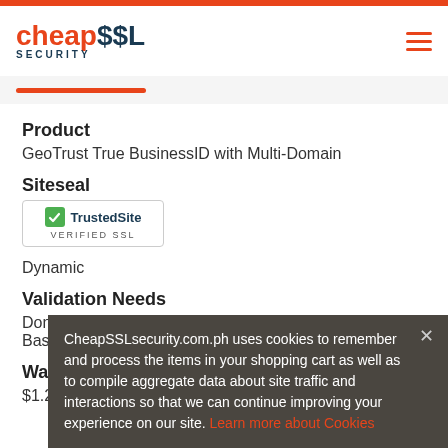cheap$$L SECURITY
Product
GeoTrust True BusinessID with Multi-Domain
Siteseal
[Figure (logo): TrustedSite Verified SSL badge with green checkmark]
Dynamic
Validation Needs
Domain +
Basic Business
Warranty
$1.25MM
CheapSSLsecurity.com.ph uses cookies to remember and process the items in your shopping cart as well as to compile aggregate data about site traffic and interactions so that we can continue improving your experience on our site. Learn more about Cookies